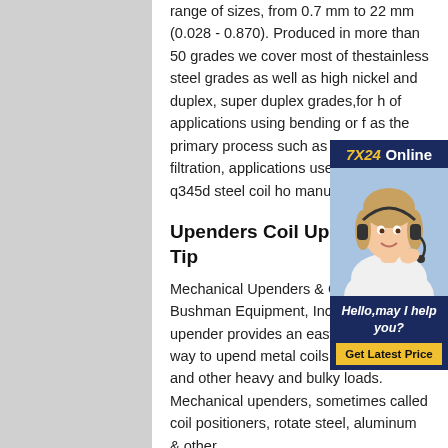range of sizes, from 0.7 mm to 22 mm (0.028 - 0.870). Produced in more than 50 grades we cover most of thestainless steel grades as well as high nickel and duplex, super duplex grades,for h of applications using bending or f as the primary process such as c belting, filtration, applications use wires, springs q345d steel coil ho manufacturing mill
Upenders Coil Upender Coil Tip
Mechanical Upenders & Coil Tipp Bushman Equipment, Inc. mechanical upender provides an easy and efficient way to upend metal coils, molds, dies and other heavy and bulky loads. Mechanical upenders, sometimes called coil positioners, rotate steel, aluminum & other
[Figure (other): Online chat support advertisement with woman wearing headset, '7X24 Online', 'Hello, may I help you?' and 'Get Latest Price' button]